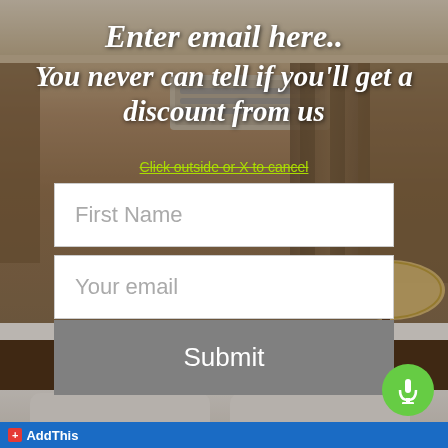[Figure (photo): Hotel room background photo showing a bed with white linens, wooden furniture, lamps, curtains, and an air conditioner on the wall]
Enter email here.. You never can tell if you'll get a discount from us
Click outside or X to cancel
First Name
Your email
Submit
+ AddThis